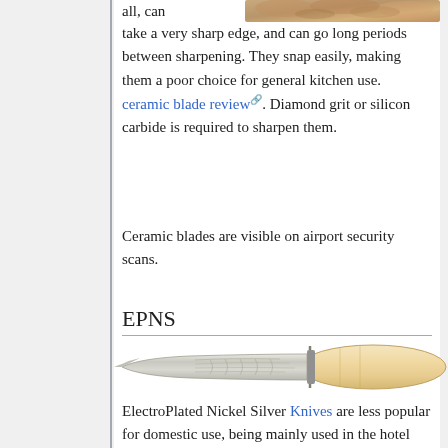[Figure (photo): Partial view of bread loaf at top right corner of page]
all, can take a very sharp edge, and can go long periods between sharpening. They snap easily, making them a poor choice for general kitchen use. ceramic blade review. Diamond grit or silicon carbide is required to sharpen them.
Ceramic blades are visible on airport security scans.
EPNS
[Figure (photo): An EPNS knife with decorative silver etched blade and ivory/cream colored handle]
ElectroPlated Nickel Silver Knives are less popular for domestic use, being mainly used in the hotel trade. The finish is a bright shiny silver if polished, and a badly tarnished mess if not polished. A lot of domestic EPNS cutlery is very old,